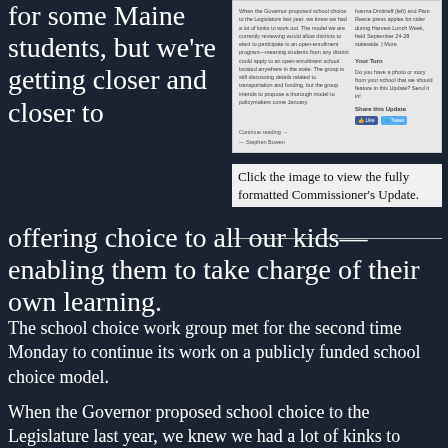for some Maine students, but we're getting closer and closer to offering choice to all our kids—enabling them to take charge of their own learning.
[Figure (screenshot): Screenshot of Commissioner's Update newsletter showing text about school choice proposal to Legislature, a sidebar with photo caption about Ivanna Dmitrieff and Pam Reece, 'Your Turn' section, 'Share this Update' with Facebook Like and Tweet buttons, and 'Continue reading' link with attribution to Stephen Bowen.]
Click the image to view the fully formatted Commissioner's Update.
The school choice work group met for the second time Monday to continue its work on a publicly funded school choice model.
When the Governor proposed school choice to the Legislature last year, we knew we had a lot of kinks to work out. The model we are currently reviewing